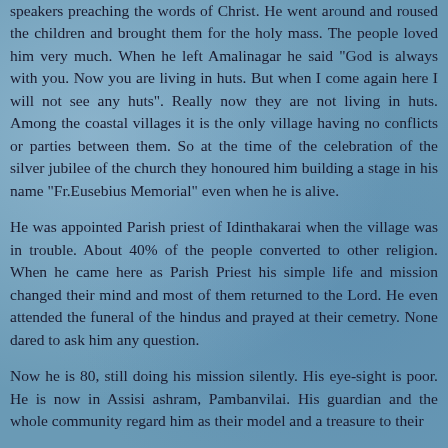speakers preaching the words of Christ. He went around and roused the children and brought them for the holy mass. The people loved him very much. When he left Amalinagar he said "God is always with you. Now you are living in huts. But when I come again here I will not see any huts". Really now they are not living in huts. Among the coastal villages it is the only village having no conflicts or parties between them. So at the time of the celebration of the silver jubilee of the church they honoured him building a stage in his name "Fr.Eusebius Memorial" even when he is alive.
He was appointed Parish priest of Idinthakarai when the village was in trouble. About 40% of the people converted to other religion. When he came here as Parish Priest his simple life and mission changed their mind and most of them returned to the Lord. He even attended the funeral of the hindus and prayed at their cemetry. None dared to ask him any question.
Now he is 80, still doing his mission silently. His eye-sight is poor. He is now in Assisi ashram, Pambanvilai. His guardian and the whole community regard him as their model and a treasure to their Col...